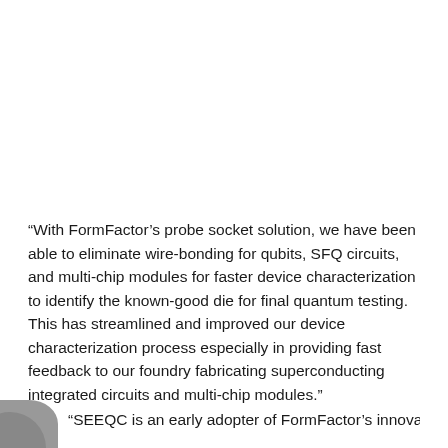[Figure (photo): Large photo or image occupying the upper portion of the page (blank/white in this view)]
“With FormFactor’s probe socket solution, we have been able to eliminate wire-bonding for qubits, SFQ circuits, and multi-chip modules for faster device characterization to identify the known-good die for final quantum testing. This has streamlined and improved our device characterization process especially in providing fast feedback to our foundry fabricating superconducting integrated circuits and multi-chip modules.”
[Figure (photo): Circular portrait photo at bottom left corner, partially visible]
“SEEQC is an early adopter of FormFactor’s innovative test